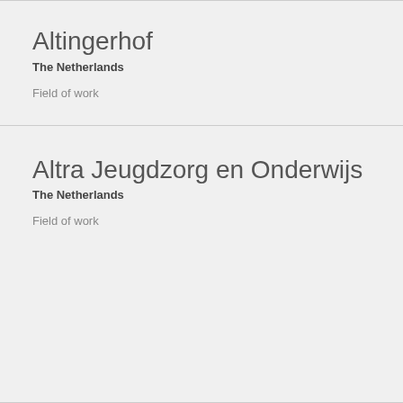Altingerhof
The Netherlands
Field of work
Altra Jeugdzorg en Onderwijs
The Netherlands
Field of work